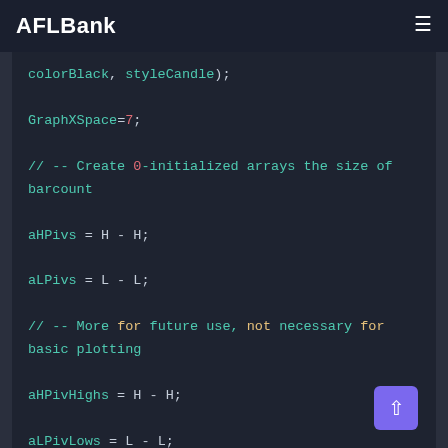AFLBank
[Figure (screenshot): Code editor screenshot showing AFL/programming code with syntax highlighting on dark background. Code includes: colorBlack, styleCandle); GraphXSpace=7; // -- Create 0-initialized arrays the size of barcount aHPivs = H - H; aLPivs = L - L; // -- More for future use, not necessary for basic plotting aHPivHighs = H - H; aLPivLows = L - L; aHPivIdxs = H - H; aLPivIdxs = L - L; nHPivs = 0; nLPivs = 0;]